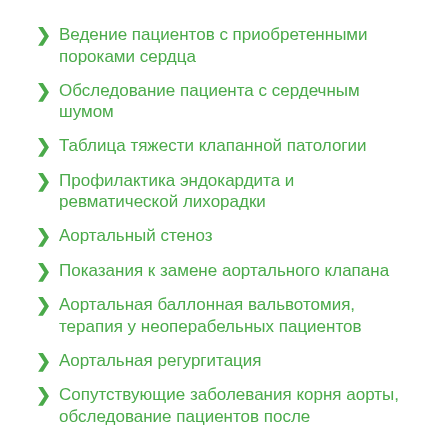Ведение пациентов с приобретенными пороками сердца
Обследование пациента с сердечным шумом
Таблица тяжести клапанной патологии
Профилактика эндокардита и ревматической лихорадки
Аортальный стеноз
Показания к замене аортального клапана
Аортальная баллонная вальвотомия, терапия у неоперабельных пациентов
Аортальная регургитация
Сопутствующие заболевания корня аорты, обследование пациентов после